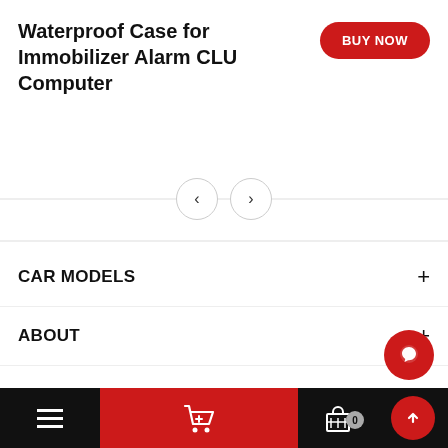Waterproof Case for Immobilizer Alarm CLU Computer
CAR MODELS
ABOUT
SUPPORT
This website uses cookies to ensure you get the best experience on our website.
Privacy Policy
0